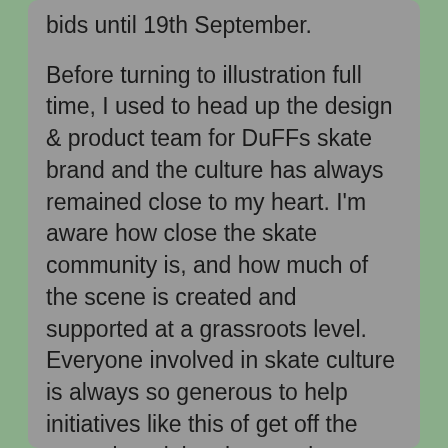bids until 19th September.
Before turning to illustration full time, I used to head up the design & product team for DuFFs skate brand and the culture has always remained close to my heart. I'm aware how close the skate community is, and how much of the scene is created and supported at a grassroots level. Everyone involved in skate culture is always so generous to help initiatives like this of get off the ground, and the skate and art worlds go hand in hand.
As a commercial illustrator, I work to briefs that are predominantly dictated by my clients' needs. So for personal work it's interesting to look to my surroundings for research & inspiration. I moved to Bradford on Avon 6 years ago and on my local dog walks, I keep seeing a Kingfisher on the Avon. It